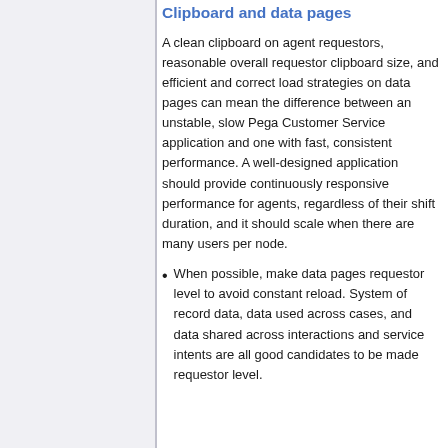Clipboard and data pages
A clean clipboard on agent requestors, reasonable overall requestor clipboard size, and efficient and correct load strategies on data pages can mean the difference between an unstable, slow Pega Customer Service application and one with fast, consistent performance. A well-designed application should provide continuously responsive performance for agents, regardless of their shift duration, and it should scale when there are many users per node.
When possible, make data pages requestor level to avoid constant reload. System of record data, data used across cases, and data shared across interactions and service intents are all good candidates to be made requestor level.